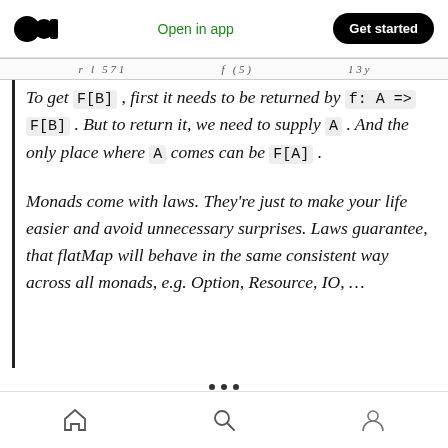Open in app | Get started
To get F[B] , first it needs to be returned by f: A => F[B] . But to return it, we need to supply A . And the only place where A comes can be F[A] .
Monads come with laws. They're just to make your life easier and avoid unnecessary surprises. Laws guarantee, that flatMap will behave in the same consistent way across all monads, e.g. Option, Resource, IO, …